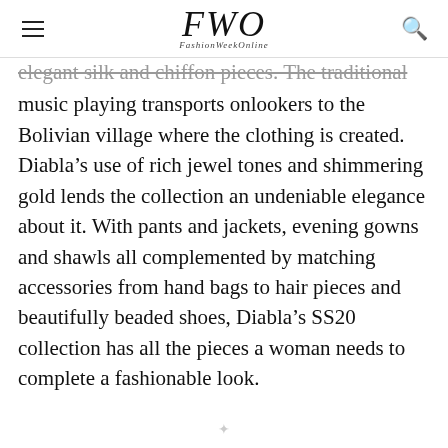FWO FashionWeekOnline
elegant silk and chiffon pieces. The traditional music playing transports onlookers to the Bolivian village where the clothing is created. Diabla’s use of rich jewel tones and shimmering gold lends the collection an undeniable elegance about it. With pants and jackets, evening gowns and shawls all complemented by matching accessories from hand bags to hair pieces and beautifully beaded shoes, Diabla’s SS20 collection has all the pieces a woman needs to complete a fashionable look.